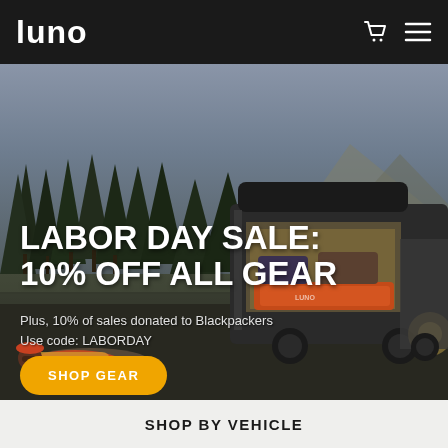LUNO
[Figure (photo): Outdoor scene with pine trees at dusk, showing the back of an SUV with camping gear and an air mattress inside, and a person lying in the grass in the foreground]
LABOR DAY SALE: 10% OFF ALL GEAR
Plus, 10% of sales donated to Blackpackers
Use code: LABORDAY
SHOP GEAR
SHOP BY VEHICLE